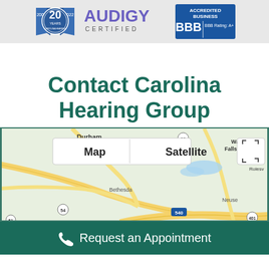[Figure (logo): 20 Years (2002-2022) Carolina Hearing Group badge, Audigy Certified logo, BBB Accredited Business logo with Rating A+]
Contact Carolina Hearing Group
[Figure (map): Google Maps showing Durham area with Map/Satellite toggle. Shows Durham, Betnesda, Wake Falls, Rolesvl, Neuse, highways 98, 54, 540, 401, 51 visible.]
Request an Appointment